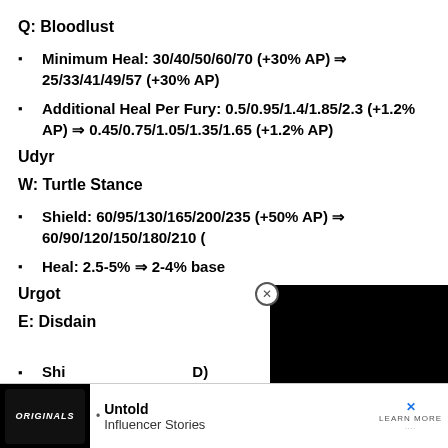Q: Bloodlust
Minimum Heal: 30/40/50/60/70 (+30% AP) ⇒ 25/33/41/49/57 (+30% AP)
Additional Heal Per Fury: 0.5/0.95/1.4/1.85/2.3 (+1.2% AP) ⇒ 0.45/0.75/1.05/1.35/1.65 (+1.2% AP)
Udyr
W: Turtle Stance
Shield: 60/95/130/165/200/235 (+50% AP) ⇒ 60/90/120/150/180/210 (-
Heal: 2.5-5% ⇒ 2-4% base
Urgot
E: Disdain
Shi D)